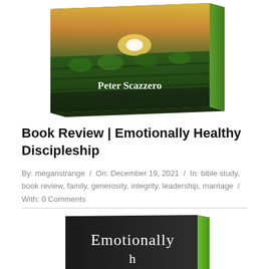[Figure (photo): Book cover of 'Emotionally Healthy Discipleship' by Peter Scazzero — a 3D book angled showing a vineyard at sunset on the cover with the author name Peter Scazzero visible in white text on a dark background.]
Book Review | Emotionally Healthy Discipleship
By: meganstrange / On: December 19, 2021 / In: bible study, book review, family, generosity, integrity, leadership, marriage / With: 0 Comments
[Figure (photo): Book cover of 'Emotionally Healthy Discipleship' shown as a dark/black hardcover book with the word 'Emotionally' visible in white serif text, with a green spine.]